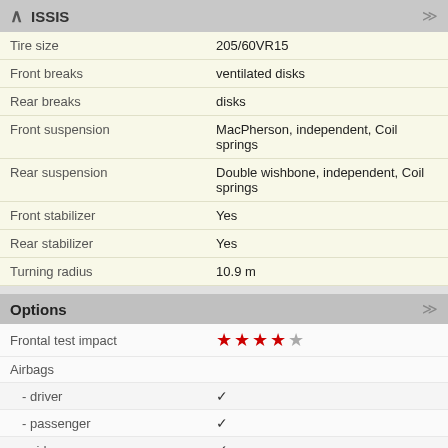CHASSIS
| Property | Value |
| --- | --- |
| Tire size | 205/60VR15 |
| Front breaks | ventilated disks |
| Rear breaks | disks |
| Front suspension | MacPherson, independent, Coil springs |
| Rear suspension | Double wishbone, independent, Coil springs |
| Front stabilizer | Yes |
| Rear stabilizer | Yes |
| Turning radius | 10.9 m |
Options
| Property | Value |
| --- | --- |
| Frontal test impact | ★★★★☆ |
| Airbags |  |
| - driver | ✓ |
| - passenger | ✓ |
| - side | ✓ |
| ABS | ✓ |
| EBD | ✓ |